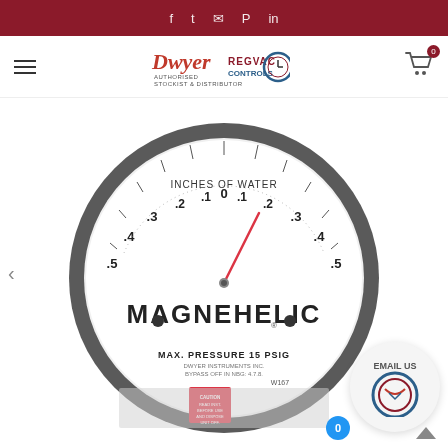Social share bar with icons: facebook, twitter, email, pinterest, linkedin
[Figure (logo): Dwyer Authorised Stockist & Distributor logo and Regvac Controls logo in navigation bar]
[Figure (photo): Dwyer Magnehelic differential pressure gauge showing scale from -0.5 to 0.5 inches of water, with red pointer needle, MAX PRESSURE 15 PSIG label, and MAGNEHELIC brand name on face. Gauge has a circular gray housing with glass front.]